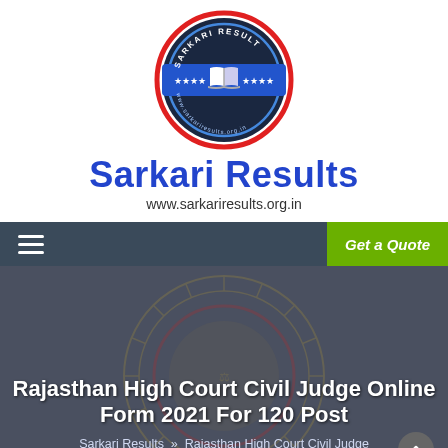[Figure (logo): Sarkari Result logo: circular badge with dark navy background, red outer ring, blue banner across middle with stars, open book icon in center, text 'SARKARI RESULT' around top and website URL around bottom]
Sarkari Results
www.sarkariresults.org.in
[Figure (screenshot): Navigation bar with hamburger menu icon on left (dark blue-grey background) and 'Get a Quote' button on right (green background)]
Rajasthan High Court Civil Judge Online Form 2021 For 120 Post
Sarkari Results » Rajasthan High Court Civil Judge Online Form 2021 For 120 Post